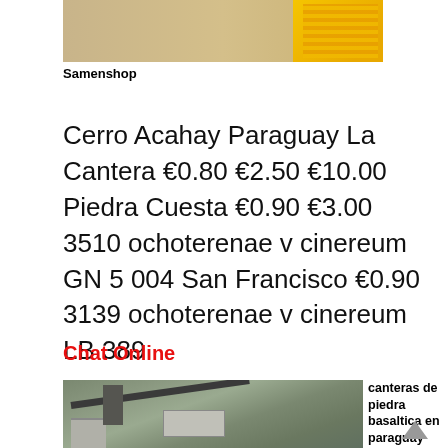[Figure (photo): Construction machinery photo with yellow equipment on sandy/rocky ground]
Samenshop
Cerro Acahay Paraguay La Cantera €0.80 €2.50 €10.00 Piedra Cuesta €0.90 €3.00 3510 ochoterenae v cinereum GN 5 004 San Francisco €0.90 3139 ochoterenae v cinereum LB 389
Chat Online
[Figure (photo): Quarry/stone crushing facility with conveyor belt and machinery]
canteras de piedra basaltica en paraguay